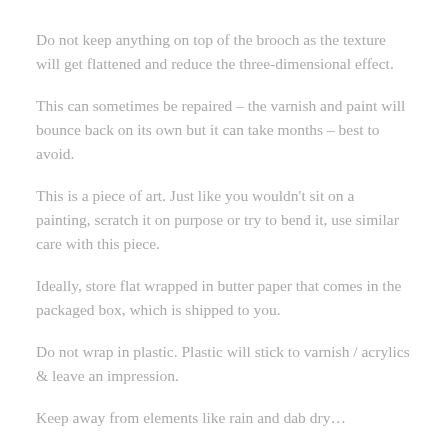Do not keep anything on top of the brooch as the texture will get flattened and reduce the three-dimensional effect.
This can sometimes be repaired – the varnish and paint will bounce back on its own but it can take months – best to avoid.
This is a piece of art. Just like you wouldn't sit on a painting, scratch it on purpose or try to bend it, use similar care with this piece.
Ideally, store flat wrapped in butter paper that comes in the packaged box, which is shipped to you.
Do not wrap in plastic. Plastic will stick to varnish / acrylics & leave an impression.
Keep away from elements like rain and dab dry…